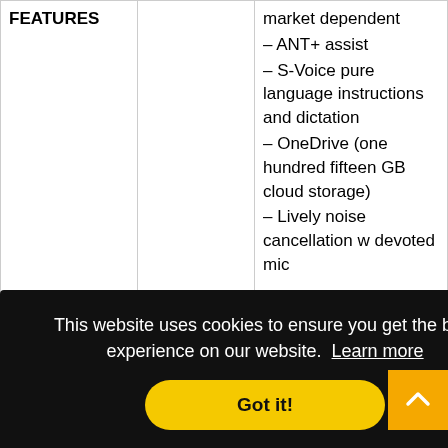|  |  |  |
| --- | --- | --- |
| FEATURES |  | market dependent
– ANT+ assist
– S-Voice pure language instructions and dictation
– OneDrive (one hundred fifteen GB cloud storage)
– Lively noise cancellation w devoted mic
–
MP4/DivX/XviD/WMV/H.264 participant |
|  |  | AAC+/FLA editor |
This website uses cookies to ensure you get the best experience on our website. Learn more
Got it!